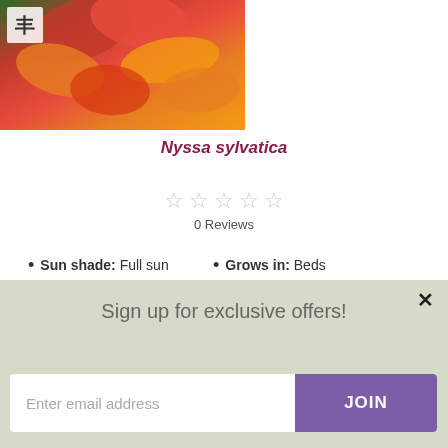[Figure (photo): Close-up photo of Nyssa sylvatica with red, orange and yellow autumn leaves; nursery logo in top-left corner]
Nyssa sylvatica
0 Reviews (5 empty stars)
Sun shade: Full sun
Grows in: Beds
Flower Colour: Green
Longevity: Tree
Sign up for exclusive offers!
Enter email address  JOIN